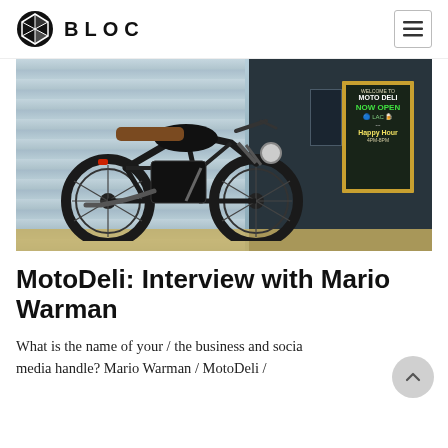BLOC
[Figure (photo): A black vintage/scrambler motorcycle parked in front of a wooden-sided building and a dark wall, with a framed chalkboard sign reading 'MOTO DELI / NOW OPEN / ...LAC... / Happy Hour']
MotoDeli: Interview with Mario Warman
What is the name of your / the business and social media handle? Mario Warman / MotoDeli /